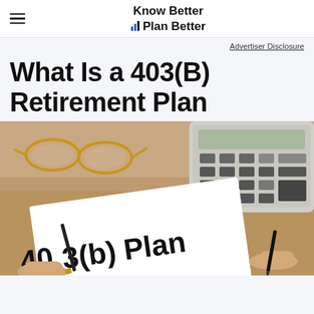Know Better Plan Better
Advertiser Disclosure
What Is a 403(B) Retirement Plan
[Figure (photo): Photo of hands holding a document labeled '403(b) Plan' with a pen, glasses, and a calculator on a wooden desk in the background.]